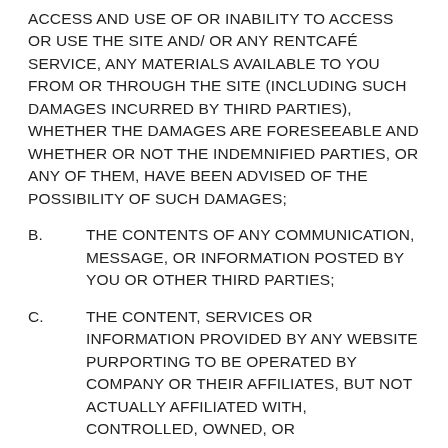ACCESS AND USE OF OR INABILITY TO ACCESS OR USE THE SITE AND/ OR ANY RENTCAFé SERVICE, ANY MATERIALS AVAILABLE TO YOU FROM OR THROUGH THE SITE (INCLUDING SUCH DAMAGES INCURRED BY THIRD PARTIES), WHETHER THE DAMAGES ARE FORESEEABLE AND WHETHER OR NOT THE INDEMNIFIED PARTIES, OR ANY OF THEM, HAVE BEEN ADVISED OF THE POSSIBILITY OF SUCH DAMAGES;
B.        THE CONTENTS OF ANY COMMUNICATION, MESSAGE, OR INFORMATION POSTED BY YOU OR OTHER THIRD PARTIES;
C.        THE CONTENT, SERVICES OR INFORMATION PROVIDED BY ANY WEBSITE PURPORTING TO BE OPERATED BY COMPANY OR THEIR AFFILIATES, BUT NOT ACTUALLY AFFILIATED WITH, CONTROLLED, OWNED, OR